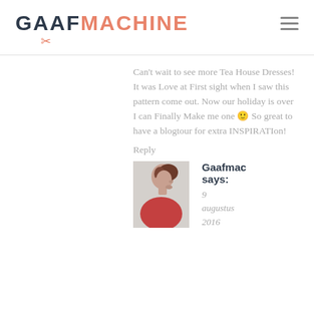GAAFMACHINE
Can't wait to see more Tea House Dresses! It was Love at First sight when I saw this pattern come out. Now our holiday is over I can Finally Make me one 🙂 So great to have a blogtour for extra INSPIRATIon!
Reply
[Figure (photo): Avatar photo of a woman in a red/pink top, side profile view]
Gaafmac says:
9 augustus 2016